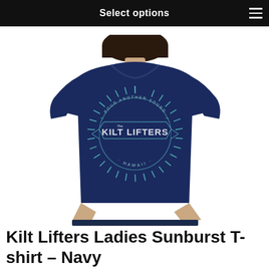Select options
[Figure (photo): Woman wearing a navy blue t-shirt with a sunburst design that reads 'The Kilt Lifters Hawaii' with the text 'Pour Another Sound' around the top of the circular design. The shirt is photographed from the chest down.]
Kilt Lifters Ladies Sunburst T-shirt – Navy